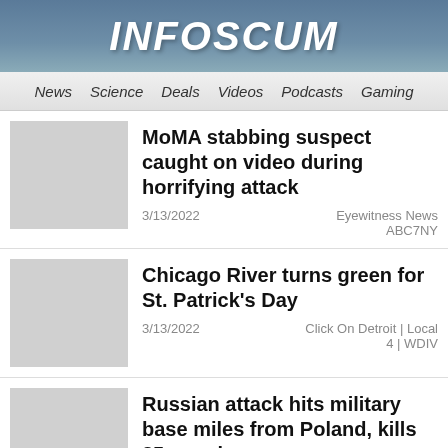INFOSCUM
News  Science  Deals  Videos  Podcasts  Gaming
MoMA stabbing suspect caught on video during horrifying attack
3/13/2022   Eyewitness News ABC7NY
Chicago River turns green for St. Patrick's Day
3/13/2022   Click On Detroit | Local 4 | WDIV
Russian attack hits military base miles from Poland, kills 35 people